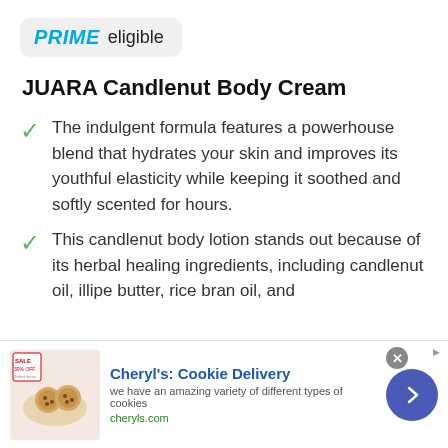[Figure (logo): PRIME eligible badge in rounded rectangle]
JUARA Candlenut Body Cream
The indulgent formula features a powerhouse blend that hydrates your skin and improves its youthful elasticity while keeping it soothed and softly scented for hours.
This candlenut body lotion stands out because of its herbal healing ingredients, including candlenut oil, illipe butter, rice bran oil, and
[Figure (screenshot): Advertisement banner for Cheryl's Cookie Delivery with cookie image, title, description and call to action arrow button]